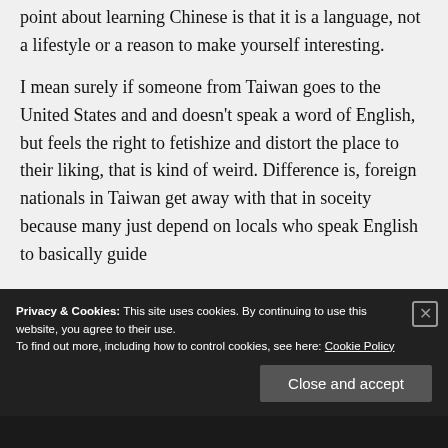point about learning Chinese is that it is a language, not a lifestyle or a reason to make yourself interesting.
I mean surely if someone from Taiwan goes to the United States and and doesn't speak a word of English, but feels the right to fetishize and distort the place to their liking, that is kind of weird. Difference is, foreign nationals in Taiwan get away with that in soceity because many just depend on locals who speak English to basically guide
Privacy & Cookies: This site uses cookies. By continuing to use this website, you agree to their use. To find out more, including how to control cookies, see here: Cookie Policy
Close and accept